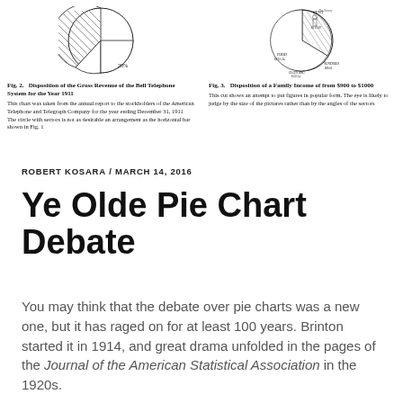[Figure (other): Two historical pie chart figures side by side. Fig. 2: Disposition of the Gross Revenue of the Bell Telephone System for the Year 1911. Fig. 3: Disposition of a Family Income of from $900 to $1000.]
Fig. 2.   Disposition of the Gross Revenue of the Bell Telephone System for the Year 1911

This chart was taken from the annual report to the stockholders of the American Telephone and Telegraph Company for the year ending December 31, 1911
The circle with sectors is not as desirable an arrangement as the horizontal bar shown in Fig. 1
Fig. 3.   Disposition of a Family Income of from $900 to $1000

This cut shows an attempt to put figures in popular form. The eye is likely to judge by the size of the pictures rather than by the angles of the sectors
ROBERT KOSARA / MARCH 14, 2016
Ye Olde Pie Chart Debate
You may think that the debate over pie charts was a new one, but it has raged on for at least 100 years. Brinton started it in 1914, and great drama unfolded in the pages of the Journal of the American Statistical Association in the 1920s.
[READ MORE...]